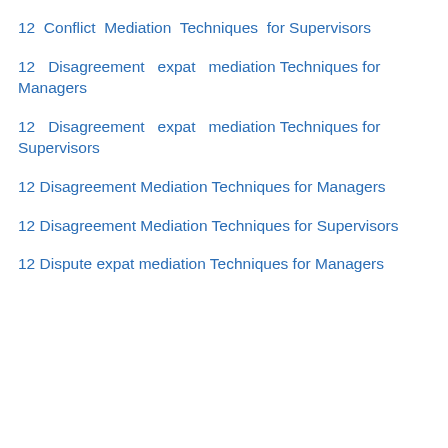12 Conflict Mediation Techniques for Supervisors
12 Disagreement expat mediation Techniques for Managers
12 Disagreement expat mediation Techniques for Supervisors
12 Disagreement Mediation Techniques for Managers
12 Disagreement Mediation Techniques for Supervisors
12 Dispute expat mediation Techniques for Managers